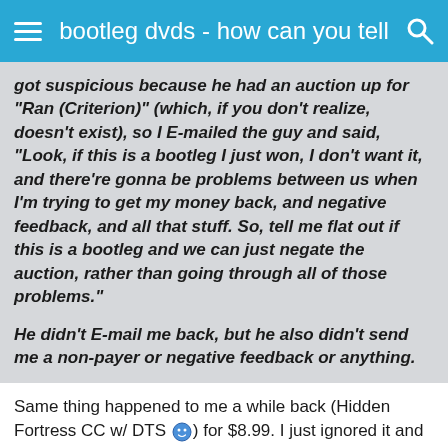bootleg dvds - how can you tell
got suspicious because he had an auction up for "Ran (Criterion)" (which, if you don't realize, doesn't exist), so I E-mailed the guy and said, "Look, if this is a bootleg I just won, I don't want it, and there're gonna be problems between us when I'm trying to get my money back, and negative feedback, and all that stuff. So, tell me flat out if this is a bootleg and we can just negate the auction, rather than going through all of those problems."

He didn't E-mail me back, but he also didn't send me a non-payer or negative feedback or anything.
Same thing happened to me a while back (Hidden Fortress CC w/ DTS) for $8.99. I just ignored it and never paid, and he never contacted me. Then strangely, about 2 months later, he gave me positive feedback. I was ssurprised, to say the least!